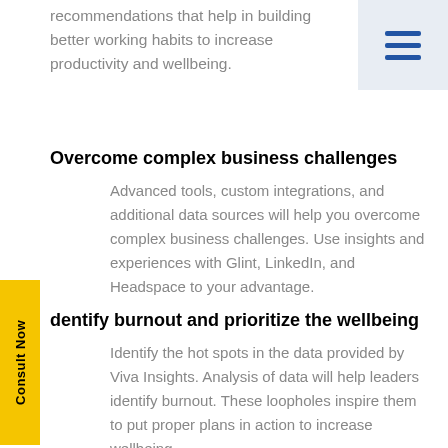recommendations that help in building better working habits to increase productivity and wellbeing.
[Figure (screenshot): Hamburger menu icon with three horizontal blue lines on a light blue/gray background in the top right corner]
Overcome complex business challenges
Advanced tools, custom integrations, and additional data sources will help you overcome complex business challenges. Use insights and experiences with Glint, LinkedIn, and Headspace to your advantage.
dentify burnout and prioritize the wellbeing
Identify the hot spots in the data provided by Viva Insights. Analysis of data will help leaders identify burnout. These loopholes inspire them to put proper plans in action to increase wellbeing.